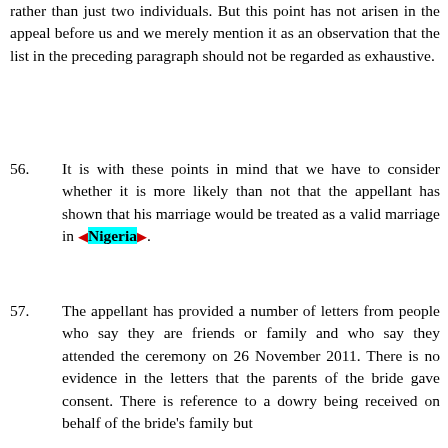rather than just two individuals. But this point has not arisen in the appeal before us and we merely mention it as an observation that the list in the preceding paragraph should not be regarded as exhaustive.
56.   It is with these points in mind that we have to consider whether it is more likely than not that the appellant has shown that his marriage would be treated as a valid marriage in Nigeria.
57.   The appellant has provided a number of letters from people who say they are friends or family and who say they attended the ceremony on 26 November 2011. There is no evidence in the letters that the parents of the bride gave consent. There is reference to a dowry being received on behalf of the bride's family but